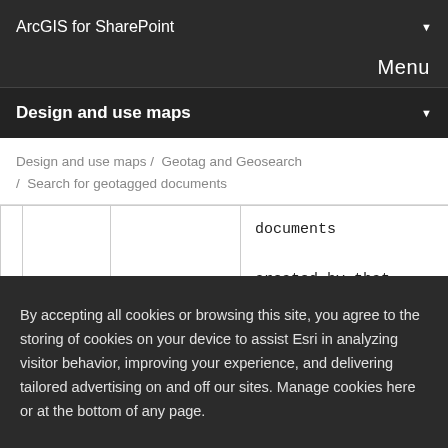ArcGIS for SharePoint
Menu
Design and use maps
Design and use maps /  Geotag and Geosearch / Search for geotagged documents
|  |  |  |  |
| --- | --- | --- | --- |
|  |  |  | documents created by that person. |
|  | Strict search– |  | Modified date– |
By accepting all cookies or browsing this site, you agree to the storing of cookies on your device to assist Esri in analyzing visitor behavior, improving your experience, and delivering tailored advertising on and off our sites. Manage cookies here or at the bottom of any page.